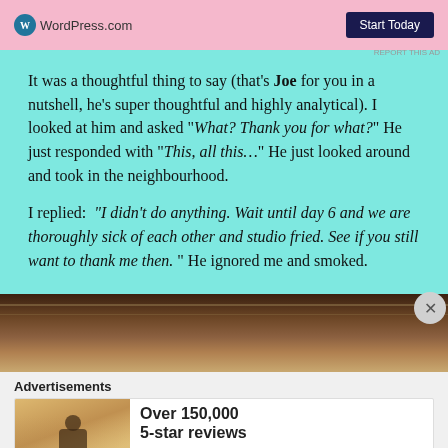[Figure (screenshot): Top advertisement banner for WordPress.com with pink background, WordPress logo, and 'Start Today' button]
It was a thoughtful thing to say (that's Joe for you in a nutshell, he's super thoughtful and highly analytical). I looked at him and asked "What? Thank you for what?" He just responded with "This, all this…" He just looked around and took in the neighbourhood.
I replied: "I didn't do anything. Wait until day 6 and we are thoroughly sick of each other and studio fried. See if you still want to thank me then." He ignored me and smoked.
[Figure (photo): Partial photo of a wooden building/fence exterior]
Advertisements
[Figure (screenshot): Day One Journal advertisement: Over 150,000 5-star reviews]